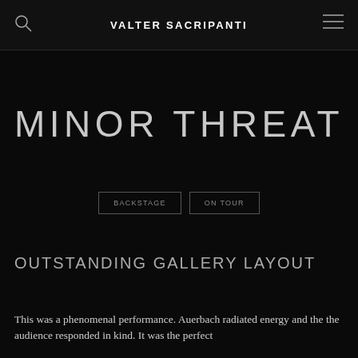VALTER SACRIPANTI
MINOR THREAT
BACKSTAGE
ON TOUR
OUTSTANDING GALLERY LAYOUT
This was a phenomenal performance. Auerbach radiated energy and the the audience responded in kind. It was the perfect